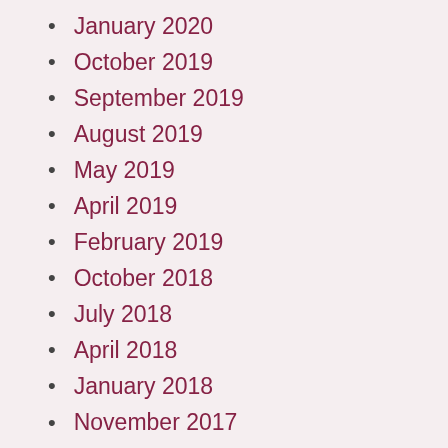January 2020
October 2019
September 2019
August 2019
May 2019
April 2019
February 2019
October 2018
July 2018
April 2018
January 2018
November 2017
September 2017
August 2017
September 2016
September 2015
August 2015
June 2015
March 2015